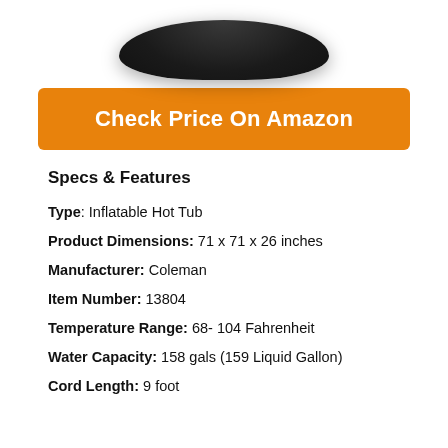[Figure (photo): Bottom portion of a dark/black inflatable hot tub product shown from above, partially cropped at the top of the page.]
Check Price On Amazon
Specs & Features
Type: Inflatable Hot Tub
Product Dimensions: 71 x 71 x 26 inches
Manufacturer: Coleman
Item Number: 13804
Temperature Range: 68- 104 Fahrenheit
Water Capacity: 158 gals (159 Liquid Gallon)
Cord Length: 9 foot